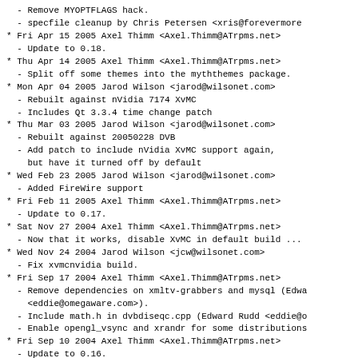- Remove MYOPTFLAGS hack.
  - specfile cleanup by Chris Petersen <xris@forevermore
* Fri Apr 15 2005 Axel Thimm <Axel.Thimm@ATrpms.net>
  - Update to 0.18.
* Thu Apr 14 2005 Axel Thimm <Axel.Thimm@ATrpms.net>
  - Split off some themes into the myththemes package.
* Mon Apr 04 2005 Jarod Wilson <jarod@wilsonet.com>
  - Rebuilt against nVidia 7174 XvMC
  - Includes Qt 3.3.4 time change patch
* Thu Mar 03 2005 Jarod Wilson <jarod@wilsonet.com>
  - Rebuilt against 20050228 DVB
  - Add patch to include nVidia XvMC support again,
    but have it turned off by default
* Wed Feb 23 2005 Jarod Wilson <jarod@wilsonet.com>
  - Added FireWire support
* Fri Feb 11 2005 Axel Thimm <Axel.Thimm@ATrpms.net>
  - Update to 0.17.
* Sat Nov 27 2004 Axel Thimm <Axel.Thimm@ATrpms.net>
  - Now that it works, disable XvMC in default build ...
* Wed Nov 24 2004 Jarod Wilson <jcw@wilsonet.com>
  - Fix xvmcnvidia build.
* Fri Sep 17 2004 Axel Thimm <Axel.Thimm@ATrpms.net>
  - Remove dependencies on xmltv-grabbers and mysql (Edwa
    <eddie@omegaware.com>).
  - Include math.h in dvbdiseqc.cpp (Edward Rudd <eddie@o
  - Enable opengl_vsync and xrandr for some distributions
* Fri Sep 10 2004 Axel Thimm <Axel.Thimm@ATrpms.net>
  - Update to 0.16.
* Sat Aug 21 2004 Ben Stanley <bds02@uow.edu.au>
  - Sub-release 75.